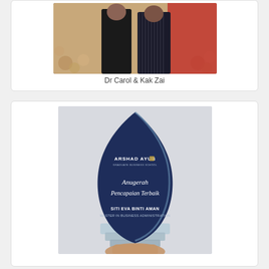[Figure (photo): Two people standing together at an event with patterned floor and red backdrop]
Dr Carol & Kak Zai
[Figure (photo): A hand holding a crystal plaque award from Arshad Ayub Graduate Business School reading 'Anugerah Pencapaian Terbaik Tahun' awarded to Siti Eva Binti Aman, Master in Business Administration]